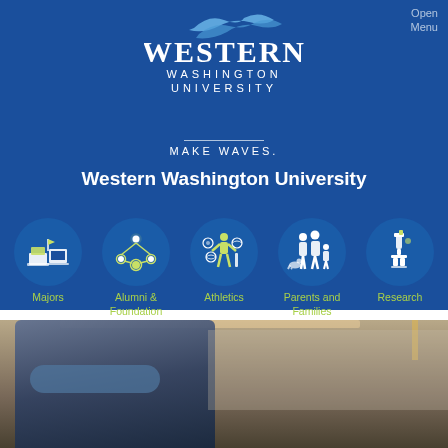Open Menu
[Figure (logo): Western Washington University logo with wave graphic above text]
MAKE WAVES.
Western Washington University
[Figure (infographic): Navigation icons row 1: Majors (books/laptop icon), Alumni & Foundation (network people icon), Athletics (sports icon), Parents and Families (family figure icon), Research (microscope icon)]
[Figure (infographic): Navigation icon row 2: Visit (landscape/sailboat icon)]
[Figure (photo): Person wearing VR headset in classroom or lab setting]